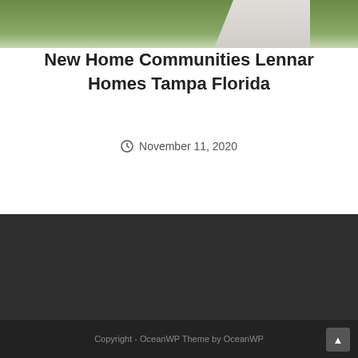[Figure (photo): Top portion of a house exterior photo showing green lawn and a concrete driveway, partially cropped]
New Home Communities Lennar Homes Tampa Florida
November 11, 2020
Copyright - OceanWP Theme by OceanWP